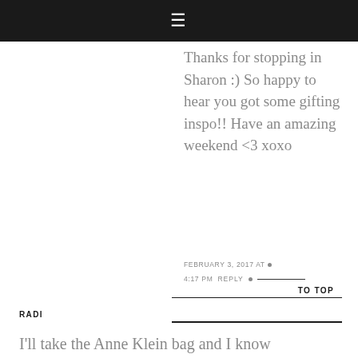≡
Thanks for stopping in Sharon :) So happy to hear you got some gifting inspo!! Have an amazing weekend <3 xoxo
FEBRUARY 3, 2017 AT • 4:17 PM    REPLY •
TO TOP
RADI
I'll take the Anne Klein bag and I know